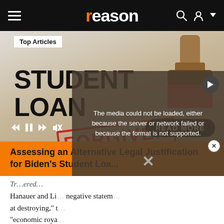reason
[Figure (screenshot): Screenshot of reason.com website showing a hero image of STUDENT LOAN FORGIVEN stamp with a rubber stamp, Top Articles badge, media controls, READ MORE button, and article title overlay 'Assessing an Alternative Legal Justification for Biden's Student Loa...' on an orange background. A video error overlay reads 'The media could not be loaded, either because the server or network failed or because the format is not supported.']
Hanauer and Li... negative statem... at destroying," t... "economic roya... communists, etc... discussion (libertarians are not "reasonable people," so